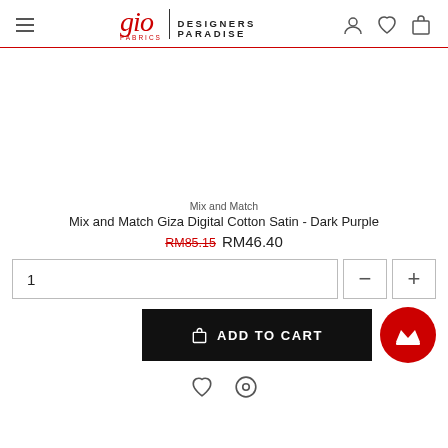[Figure (logo): Gio Fabrics Designers Paradise logo with hamburger menu and nav icons (user, heart, bag)]
[Figure (photo): Product image area (white/empty)]
Mix and Match
Mix and Match Giza Digital Cotton Satin - Dark Purple
RM85.15 RM46.40
1
ADD TO CART